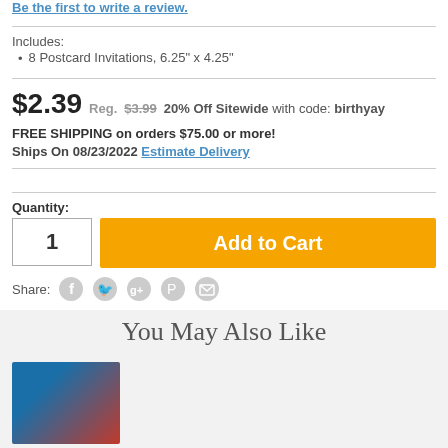Be the first to write a review.
Includes:
8 Postcard Invitations, 6.25" x 4.25"
$2.39  Reg. $3.99  20% Off Sitewide with code: birthyay
FREE SHIPPING on orders $75.00 or more!
Ships On 08/23/2022  Estimate Delivery
Quantity:
1
Add to Cart
Share:
You May Also Like